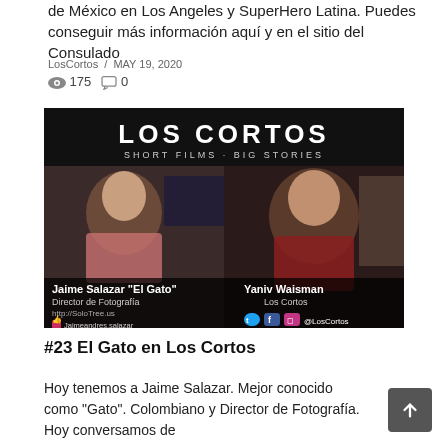de México en Los Angeles y SuperHero Latina. Puedes conseguir más información aquí y en el sitio del Consulado
LosCortos / MAY 19, 2020
175 / 0
[Figure (photo): Video thumbnail from Los Cortos showing two men in a split-screen video call. Left: Jaime Salazar 'El Gato', Director de Fotografía, http://SoloTree.us, @Jaimeandres.salazar, 4 SoloTreeProductions. Right: Yaniv Waisman, Los Cortos. Social icons: @LosCortos. Logo reads LOS CORTOS SHORT FILMS · BIG STORIES.]
#23 El Gato en Los Cortos
Hoy tenemos a Jaime Salazar. Mejor conocido como "Gato". Colombiano y Director de Fotografía. Hoy conversamos de